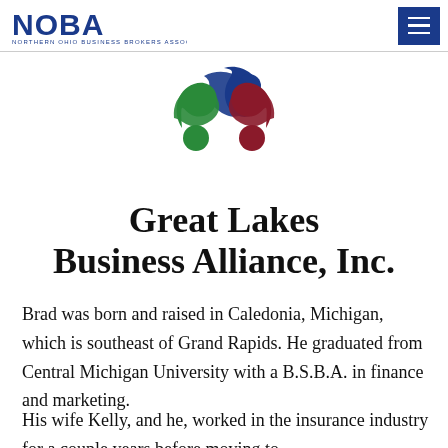NOBA — Northern Ohio Business Brokers Association
[Figure (logo): Great Lakes Business Alliance, Inc. logo — three interlinked swoosh shapes in blue, green, and dark red/maroon forming a triangular arrangement]
Great Lakes Business Alliance, Inc.
Brad was born and raised in Caledonia, Michigan, which is southeast of Grand Rapids. He graduated from Central Michigan University with a B.S.B.A. in finance and marketing.
His wife Kelly, and he, worked in the insurance industry for a couple years before moving to